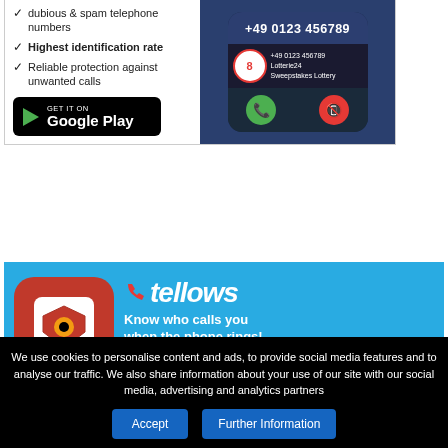dubious & spam telephone numbers
Highest identification rate
Reliable protection against unwanted calls
[Figure (screenshot): Google Play store download button with play icon]
[Figure (screenshot): Phone screen showing incoming call from +49 0123 456789 identified as Lotterie24 Sweepstakes Lottery with score 8 shield, answer and decline buttons]
[Figure (infographic): Tellows app advertisement banner with red phone icon app logo, tellows logo text in white italic, tagline 'Know who calls you when the phone rings!', App Store button, and partial phone mockup at bottom]
We use cookies to personalise content and ads, to provide social media features and to analyse our traffic. We also share information about your use of our site with our social media, advertising and analytics partners